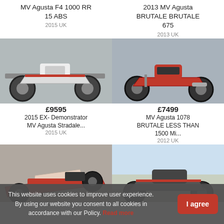MV Agusta F4 1000 RR 15 ABS
2015 UK
2013 MV Agusta BRUTALE BRUTALE 675
2013 UK
[Figure (photo): MV Agusta F4 1000 RR motorcycle, white and black, parked indoors]
[Figure (photo): MV Agusta Brutale 675 motorcycle, red and black, parked indoors]
£9595
2015 EX- Demonstrator MV Agusta Stradale...
2015 UK
£7499
MV Agusta 1078 BRUTALE LESS THAN 1500 Mi...
2012 UK
[Figure (photo): Red and white MV Agusta Stradale motorcycle, partial view]
[Figure (photo): Dark grey/black MV Agusta sportbike, side view outdoors]
This website uses cookies to improve user experience. By using our website you consent to all cookies in accordance with our Policy. Read more
I agree